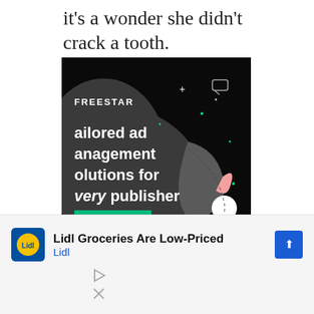it's a wonder she didn't crack a tooth.
[Figure (screenshot): Freestar advertisement banner with dark background showing text 'tailored ad management solutions for every publisher' and a green 'LEARN MORE' button, with abstract graphic elements]
This is a solidly physical
[Figure (other): Lidl advertisement: 'Lidl Groceries Are Low-Priced' with Lidl logo and navigation arrow icon]